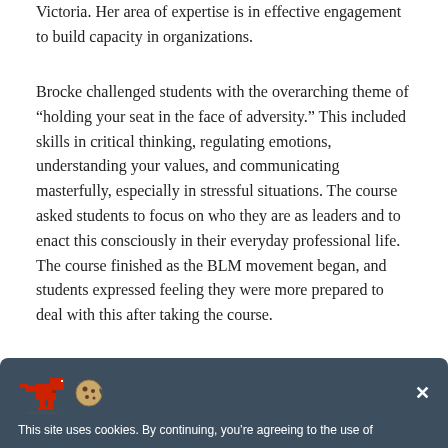Victoria. Her area of expertise is in effective engagement to build capacity in organizations.
Brocke challenged students with the overarching theme of “holding your seat in the face of adversity.” This included skills in critical thinking, regulating emotions, understanding your values, and communicating masterfully, especially in stressful situations. The course asked students to focus on who they are as leaders and to enact this consciously in their everyday professional life. The course finished as the BLM movement began, and students expressed feeling they were more prepared to deal with this after taking the course.
This site uses cookies. By continuing, you’re agreeing to the use of